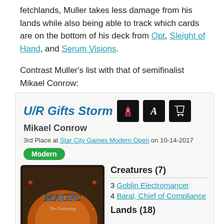fetchlands, Muller takes less damage from his lands while also being able to track which cards are on the bottom of his deck from Opt, Sleight of Hand, and Serum Visions.
Contrast Muller's list with that of semifinalist Mikael Conrow:
[Figure (other): Card deck listing box for U/R Gifts Storm by Mikael Conrow, 3rd Place at Star City Games Modern Open on 10-14-2017, Modern format. Includes a Magic: The Gathering card image and decklist showing Creatures (7): 3 Goblin Electromancer, 4 Baral, Chief of Compliance; Lands (18).]